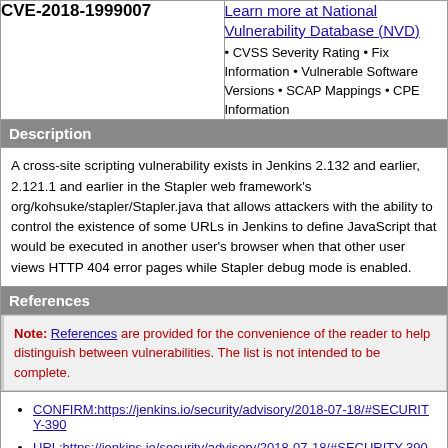CVE-2018-1999007
Learn more at National Vulnerability Database (NVD) • CVSS Severity Rating • Fix Information • Vulnerable Software Versions • SCAP Mappings • CPE Information
Description
A cross-site scripting vulnerability exists in Jenkins 2.132 and earlier, 2.121.1 and earlier in the Stapler web framework's org/kohsuke/stapler/Stapler.java that allows attackers with the ability to control the existence of some URLs in Jenkins to define JavaScript that would be executed in another user's browser when that other user views HTTP 404 error pages while Stapler debug mode is enabled.
References
Note: References are provided for the convenience of the reader to help distinguish between vulnerabilities. The list is not intended to be complete.
CONFIRM:https://jenkins.io/security/advisory/2018-07-18/#SECURITY-390
URL:https://jenkins.io/security/advisory/2018-07-18/#SECURITY-390